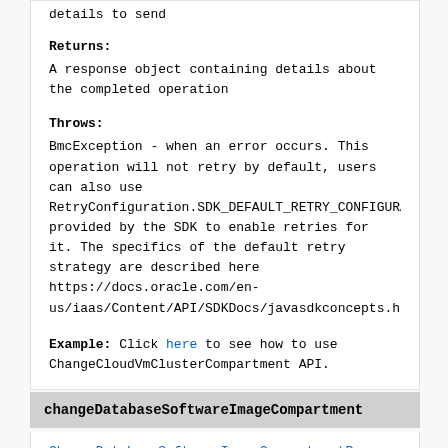details to send
Returns:
A response object containing details about the completed operation
Throws:
BmcException - when an error occurs. This operation will not retry by default, users can also use RetryConfiguration.SDK_DEFAULT_RETRY_CONFIGURATION provided by the SDK to enable retries for it. The specifics of the default retry strategy are described here https://docs.oracle.com/en-us/iaas/Content/API/SDKDocs/javasdkconcepts.htm#j
Example: Click here to see how to use ChangeCloudVmClusterCompartment API.
changeDatabaseSoftwareImageCompartment
ChangeDatabaseSoftwareImageCompartmentResponse ch